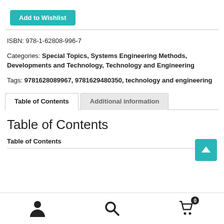[Figure (other): Teal 'Add to Wishlist' button]
ISBN: 978-1-62808-996-7
Categories: Special Topics, Systems Engineering Methods, Developments and Technology, Technology and Engineering
Tags: 9781628089967, 9781629480350, technology and engineering
[Figure (screenshot): Tab bar with 'Table of Contents' (active) and 'Additional information' tabs]
Table of Contents
Table of Contents
[Figure (other): Bottom navigation bar with user icon, search icon, and cart icon with badge 0]